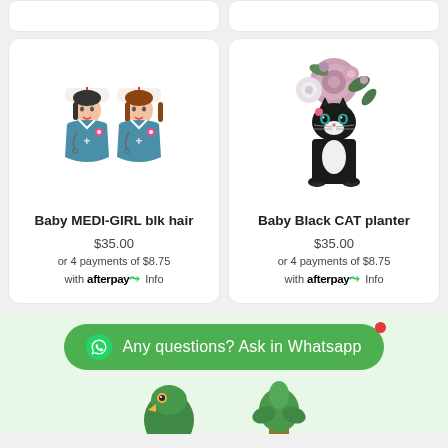[Figure (photo): Two nurse-themed ceramic figurine planters (Baby MEDI-GIRL blk hair) wearing blue scrubs and nurse hats with red crosses]
Baby MEDI-GIRL blk hair
$35.00
or 4 payments of $8.75 with afterpay Info
[Figure (photo): Black cat ceramic planter (Baby Black CAT planter) with pink and white flowers on top]
Baby Black CAT planter
$35.00
or 4 payments of $8.75 with afterpay Info
Any questions? Ask in Whatsapp